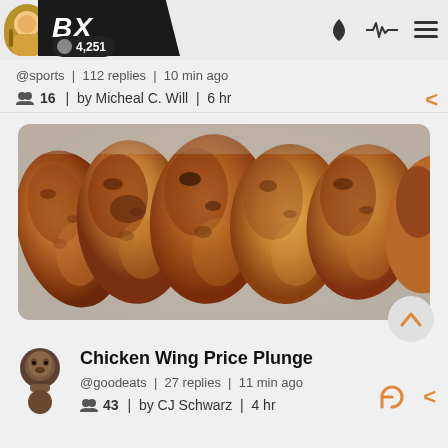BX | 4,251
@sports | 112 replies | 10 min ago
16 | by Micheal C. Will | 6 hr
[Figure (photo): Close-up photo of multiple golden-brown crispy fried chicken wings arranged in a tray]
Chicken Wing Price Plunge
@goodeats | 27 replies | 11 min ago
43 | by CJ Schwarz | 4 hr